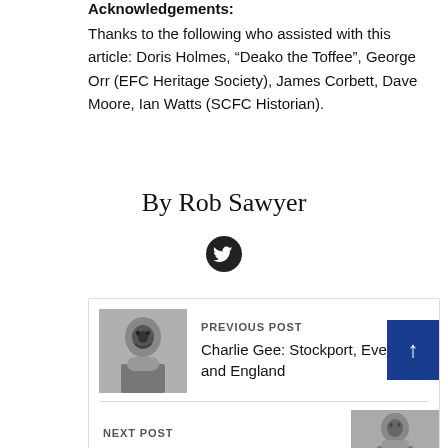Acknowledgements:
Thanks to the following who assisted with this article: Doris Holmes, “Deako the Toffee”, George Orr (EFC Heritage Society), James Corbett, Dave Moore, Ian Watts (SCFC Historian).
By Rob Sawyer
[Figure (logo): Twitter/X circular icon in dark circle]
PREVIOUS POST
Charlie Gee: Stockport, Everton and England
[Figure (photo): Black and white photo of a man, portrait style]
NEXT POST
[Figure (photo): Black and white photo, partial view at bottom right]